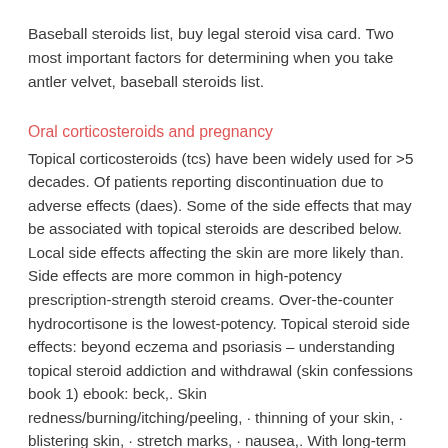Baseball steroids list, buy legal steroid visa card. Two most important factors for determining when you take antler velvet, baseball steroids list.
Oral corticosteroids and pregnancy
Topical corticosteroids (tcs) have been widely used for >5 decades. Of patients reporting discontinuation due to adverse effects (daes). Some of the side effects that may be associated with topical steroids are described below. Local side effects affecting the skin are more likely than. Side effects are more common in high-potency prescription-strength steroid creams. Over-the-counter hydrocortisone is the lowest-potency. Topical steroid side effects: beyond eczema and psoriasis – understanding topical steroid addiction and withdrawal (skin confessions book 1) ebook: beck,. Skin redness/burning/itching/peeling, · thinning of your skin, · blistering skin, · stretch marks, · nausea,. With long-term use of topical steroid the skin may develop permanent stretch marks (striae), bruising, discolouration, or thin spidery blood vessels (telangiectasias). Topical steroids may trigger or worsen other